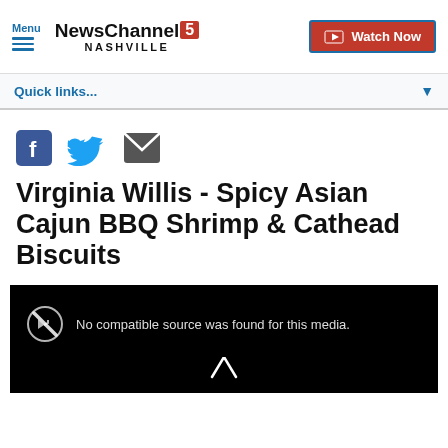Menu | NewsChannel5 NASHVILLE | Watch Now
Quick links...
[Figure (other): Social share icons: Facebook, Twitter, Email]
Virginia Willis - Spicy Asian Cajun BBQ Shrimp & Cathead Biscuits
[Figure (screenshot): Video player showing error: No compatible source was found for this media.]